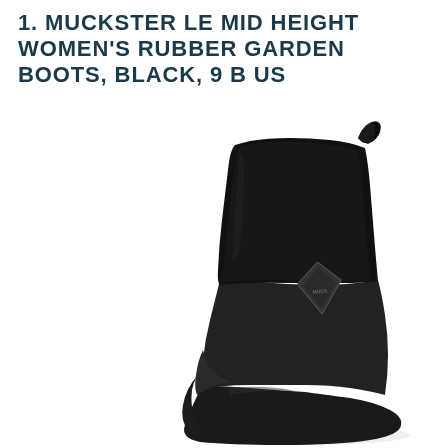1. MUCKSTER LE MID HEIGHT WOMEN'S RUBBER GARDEN BOOTS, BLACK, 9 B US
[Figure (photo): Black rubber garden boot (Muckster LE Mid Height Women's) shown in side profile view, featuring a black neoprene upper shaft with a grey diamond-shaped Muck Boot logo patch, a smooth black rubber lower section, and a black sole. The boot is photographed against a white background.]